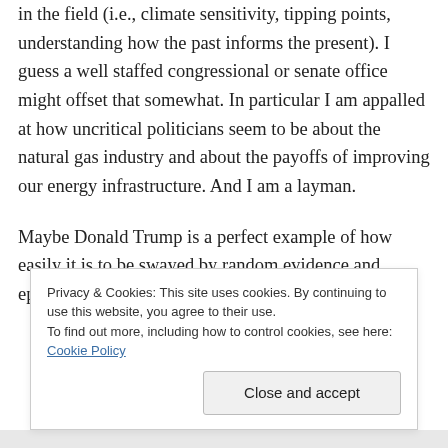in the field (i.e., climate sensitivity, tipping points, understanding how the past informs the present). I guess a well staffed congressional or senate office might offset that somewhat. In particular I am appalled at how uncritical politicians seem to be about the natural gas industry and about the payoffs of improving our energy infrastructure. And I am a layman.

Maybe Donald Trump is a perfect example of how easily it is to be swayed by random evidence and epistemic closure. I often wonder
Privacy & Cookies: This site uses cookies. By continuing to use this website, you agree to their use.
To find out more, including how to control cookies, see here: Cookie Policy